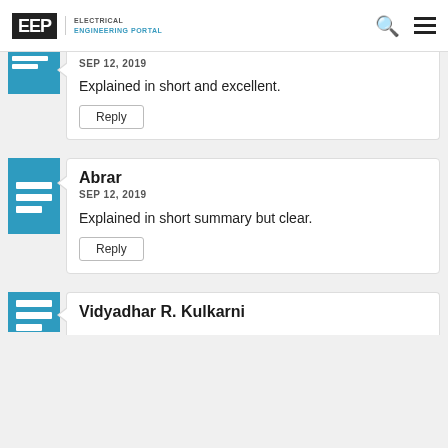EEP | ELECTRICAL ENGINEERING PORTAL
SEP 12, 2019
Explained in short and excellent.
Reply
Abrar
SEP 12, 2019
Explained in short summary but clear.
Reply
Vidyadhar R. Kulkarni